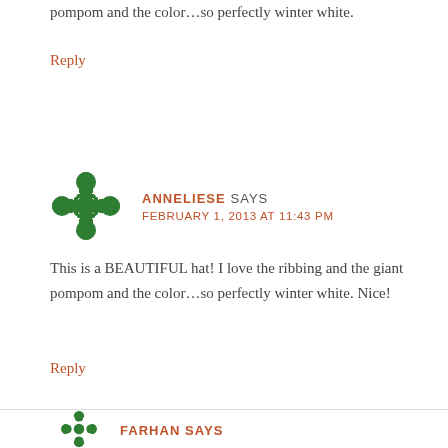pompom and the color…so perfectly winter white.
Reply
[Figure (illustration): Green decorative avatar icon — a square with four leaf/petal shapes forming a cross/flower pattern in dark green]
ANNELIESE SAYS
FEBRUARY 1, 2013 AT 11:43 PM
This is a BEAUTIFUL hat! I love the ribbing and the giant pompom and the color…so perfectly winter white. Nice!
Reply
[Figure (illustration): Partially visible decorative avatar icon at bottom of page, similar style to above]
FARHAN SAYS